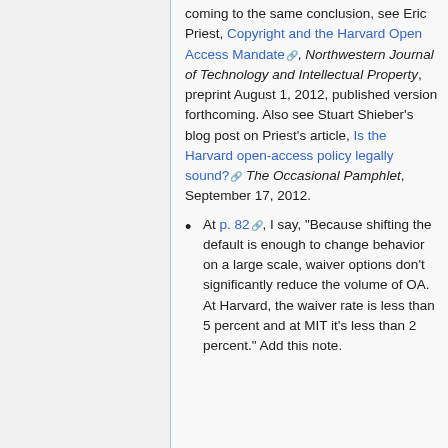coming to the same conclusion, see Eric Priest, Copyright and the Harvard Open Access Mandate, Northwestern Journal of Technology and Intellectual Property, preprint August 1, 2012, published version forthcoming. Also see Stuart Shieber's blog post on Priest's article, Is the Harvard open-access policy legally sound? The Occasional Pamphlet, September 17, 2012.
At p. 82, I say, "Because shifting the default is enough to change behavior on a large scale, waiver options don't significantly reduce the volume of OA. At Harvard, the waiver rate is less than 5 percent and at MIT it's less than 2 percent." Add this note.